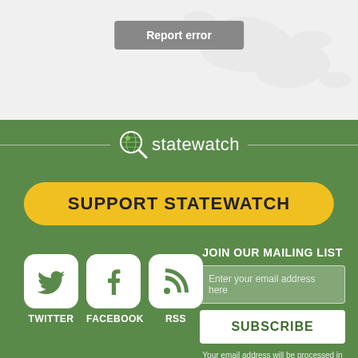[Figure (screenshot): Top white/grey section with faint world map background and a grey 'Report error' button centered at top]
Report error
[Figure (logo): Statewatch logo: magnifying glass icon with globe, next to text 'statewatch', flanked by horizontal lines on green background]
SUPPORT STATEWATCH
[Figure (infographic): Social media icons: Twitter bird, Facebook F, RSS feed symbol in white rounded-square boxes]
TWITTER FACEBOOK RSS
JOIN OUR MAILING LIST
Enter your email address here
SUBSCRIBE
Your email address will be processed in accordance with our Privacy Policy.